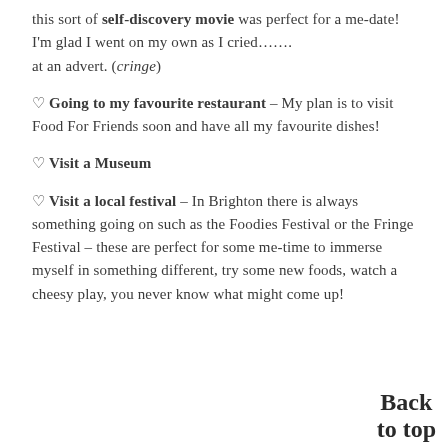this sort of self-discovery movie was perfect for a me-date! I'm glad I went on my own as I cried……. at an advert. (cringe)
♡ Going to my favourite restaurant – My plan is to visit Food For Friends soon and have all my favourite dishes!
♡ Visit a Museum
♡ Visit a local festival – In Brighton there is always something going on such as the Foodies Festival or the Fringe Festival – these are perfect for some me-time to immerse myself in something different, try some new foods, watch a cheesy play, you never know what might come up!